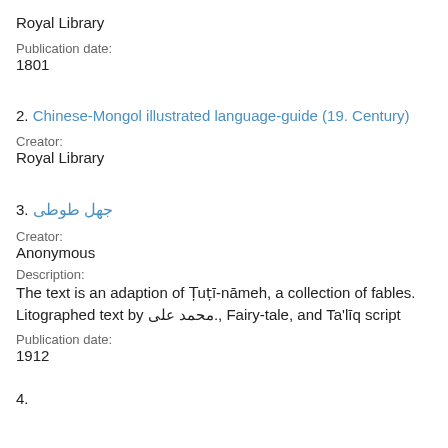Royal Library
Publication date:
1801
2. Chinese-Mongol illustrated language-guide (19. Century)
Creator:
Royal Library
3. جهل طوطی
Creator:
Anonymous
Description:
The text is an adaption of Ṭuṭī-nāmeh, a collection of fables. Litographed text by محمد على., Fairy-tale, and Ta'līq script
Publication date:
1912
4.